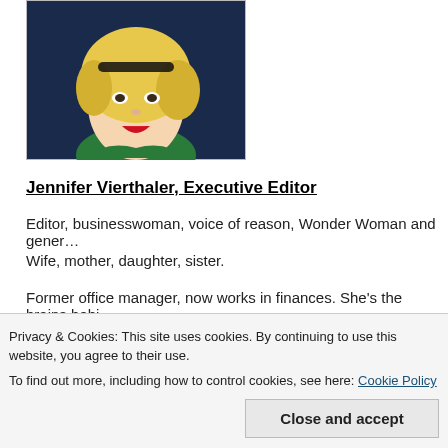[Figure (illustration): Illustrated portrait of a blonde woman with a hair accessory, wearing a green top with a necklace, smiling with red lips, against a dark blue background]
Jennifer Vierthaler, Executive Editor
Editor, businesswoman, voice of reason, Wonder Woman and gener…
Wife, mother, daughter, sister.
Former office manager, now works in finances. She's the brains behi…
[Figure (illustration): Illustrated portrait of a person wearing a dark hat and brown clothing, against a light peach/tan background]
Privacy & Cookies: This site uses cookies. By continuing to use this website, you agree to their use.
To find out more, including how to control cookies, see here: Cookie Policy
Close and accept